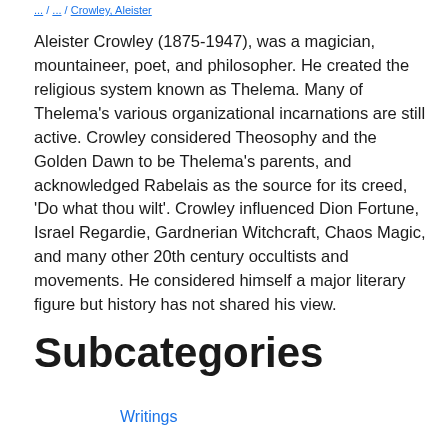... / ... / Crowley, Aleister
Aleister Crowley (1875-1947), was a magician, mountaineer, poet, and philosopher. He created the religious system known as Thelema. Many of Thelema's various organizational incarnations are still active. Crowley considered Theosophy and the Golden Dawn to be Thelema's parents, and acknowledged Rabelais as the source for its creed, 'Do what thou wilt'. Crowley influenced Dion Fortune, Israel Regardie, Gardnerian Witchcraft, Chaos Magic, and many other 20th century occultists and movements. He considered himself a major literary figure but history has not shared his view.
Subcategories
Writings